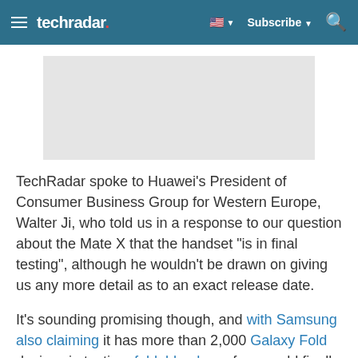techradar
[Figure (other): Gray placeholder image/advertisement area]
TechRadar spoke to Huawei's President of Consumer Business Group for Western Europe, Walter Ji, who told us in a response to our question about the Mate X that the handset "is in final testing", although he wouldn't be drawn on giving us any more detail as to an exact release date.
It's sounding promising though, and with Samsung also claiming it has more than 2,000 Galaxy Fold devices in testing, foldable phone fans could finally